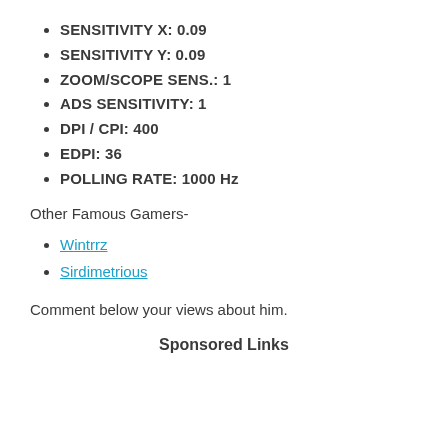SENSITIVITY X: 0.09
SENSITIVITY Y: 0.09
ZOOM/SCOPE SENS.: 1
ADS SENSITIVITY: 1
DPI / CPI: 400
EDPI: 36
POLLING RATE: 1000 Hz
Other Famous Gamers-
Wintrrz
Sirdimetrious
Comment below your views about him.
Sponsored Links